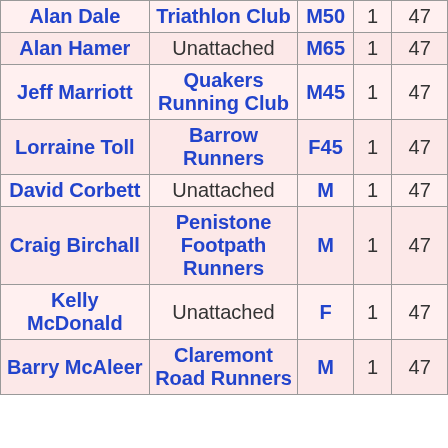| Name | Club | Cat | Num1 | Time |
| --- | --- | --- | --- | --- |
| Alan Dale | Triathlon Club | M50 | 1 | 47 |
| Alan Hamer | Unattached | M65 | 1 | 47 |
| Jeff Marriott | Quakers Running Club | M45 | 1 | 47 |
| Lorraine Toll | Barrow Runners | F45 | 1 | 47 |
| David Corbett | Unattached | M | 1 | 47 |
| Craig Birchall | Penistone Footpath Runners | M | 1 | 47 |
| Kelly McDonald | Unattached | F | 1 | 47 |
| Barry McAleer | Claremont Road Runners | M | 1 | 47 |